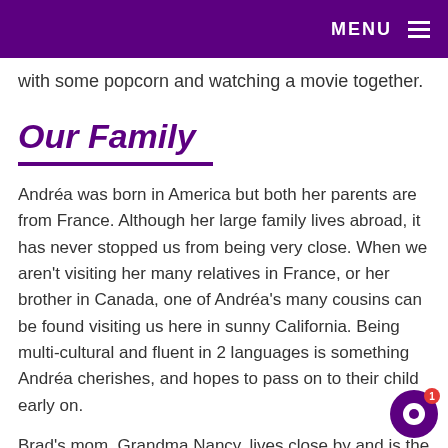MENU
with some popcorn and watching a movie together.
Our Family
Andréa was born in America but both her parents are from France. Although her large family lives abroad, it has never stopped us from being very close. When we aren't visiting her many relatives in France, or her brother in Canada, one of Andréa's many cousins can be found visiting us here in sunny California. Being multi-cultural and fluent in 2 languages is something Andréa cherishes, and hopes to pass on to their child early on.
Brad's mom, Grandma Nancy, lives close by and is the sweetest person you'll ever meet. When she comes over we love to cook and bake her famous